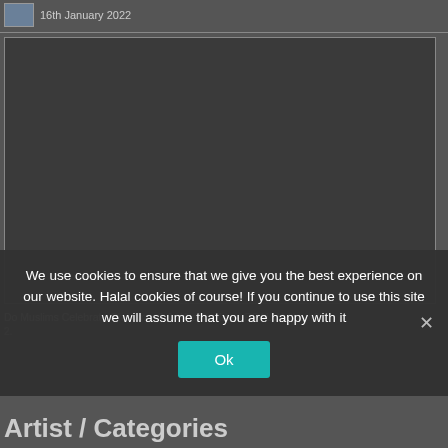16th January 2022
[Figure (screenshot): Dark gray video player area with border]
Do Muslims Celebrate Christmas? & What Is Xmas REALLY About?
2.
We use cookies to ensure that we give you the best experience on our website. Halal cookies of course! If you continue to use this site we will assume that you are happy with it
Ok
Artist / Categories